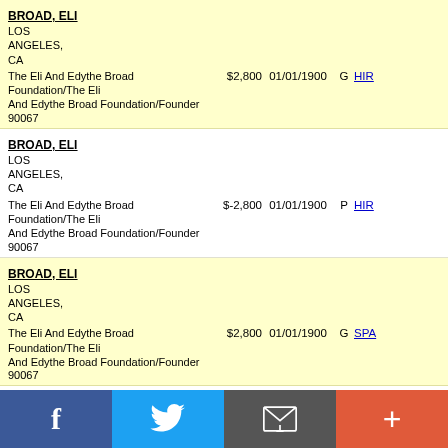BROAD, ELI
LOS ANGELES, CA 90067
The Eli And Edythe Broad Foundation/The Eli And Edythe Broad Foundation/Founder
$2,800 01/01/1900 G HIR
BROAD, ELI
LOS ANGELES, CA 90067
The Eli And Edythe Broad Foundation/The Eli And Edythe Broad Foundation/Founder
$-2,800 01/01/1900 P HIR
BROAD, ELI
LOS ANGELES, CA 90067
The Eli And Edythe Broad Foundation/The Eli And Edythe Broad Foundation/Founder
$2,800 01/01/1900 G SPA
BROAD, ELI
LOS ANGELES, CA 90067
The Eli And Edythe Broad Foundation/The Eli And Edythe Broad Foundation/Founder
$2,800 01/01/1900 P SPA
BROAD, ELI
LOS ANGELES, CA 90067
The Eli And Edythe Broad Foundation/The Eli And Edythe Broad Foundation/Founder
$2,800 01/01/1900 G ELI
BROAD, ELI
LOS
Facebook Twitter Email +